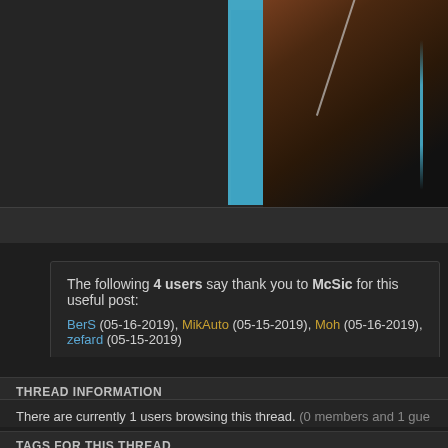[Figure (screenshot): Dark-themed game forum page showing a character with a weapon (dagger/sword) on a blue background tile, top-right area of a forum post]
The following 4 users say thank you to McSic for this useful post:
BerS (05-16-2019), MikAuto (05-15-2019), Moh (05-16-2019), zefard (05-15-2019)
THREAD INFORMATION
There are currently 1 users browsing this thread. (0 members and 1 gue...
TAGS FOR THIS THREAD
d style, dagger, donation, lucky box